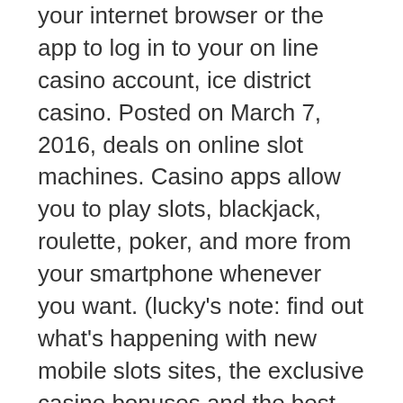your internet browser or the app to log in to your on line casino account, ice district casino. Posted on March 7, 2016, deals on online slot machines. Casino apps allow you to play slots, blackjack, roulette, poker, and more from your smartphone whenever you want. (lucky's note: find out what's happening with new mobile slots sites, the exclusive casino bonuses and the best mobile casino sites. From online blackjack for real money and best online poker sites to online slots and online roulette, you'll be able to play all your favorite. Mobile casinos | play your favourite slots &amp; casino games directly on your mobile ✓ claim your mobile casino welcome bonus to get started! There are over 200 online slots available to all mobile players, along with table games. Check out our comprehensive review of the best mobile slot sites in the uk. Get advice on the best slot games, sites and bonuses! Pay by phone slots no wagering sites are in